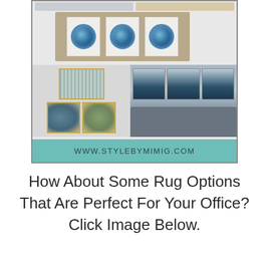[Figure (photo): Interior design mood board showing framed wall art collections: a tan-framed triptych of blue agate stone slices at top, a collage of abstract art prints in gold frames on the left, a room scene with triptych forest/landscape paintings and a gray sofa on the right. A teal banner at the bottom reads WWW.STYLEBYMIMIG.COM]
How About Some Rug Options That Are Perfect For Your Office? Click Image Below.